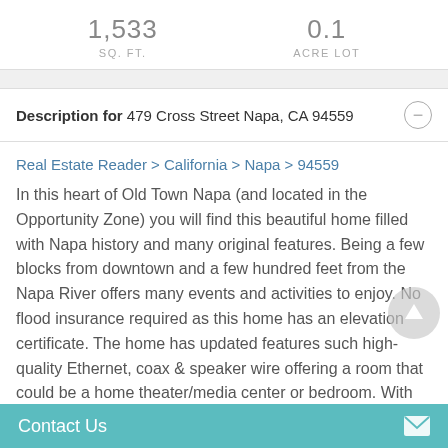1,533 SQ. FT.
0.1 ACRE LOT
Description for 479 Cross Street Napa, CA 94559
Real Estate Reader > California > Napa > 94559
In this heart of Old Town Napa (and located in the Opportunity Zone) you will find this beautiful home filled with Napa history and many original features. Being a few blocks from downtown and a few hundred feet from the Napa River offers many events and activities to enjoy. No flood insurance required as this home has an elevation certificate. The home has updated features such high-quality Ethernet, coax & speaker wire offering a room that could be a home theater/media center or bedroom. With
Contact Us